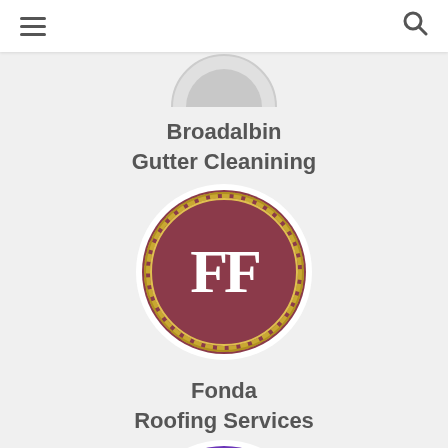navigation header with menu and search icons
[Figure (logo): Partial circle logo visible at top of page, cropped]
Broadalbin
Gutter Cleanining
[Figure (logo): Circular logo with mauve/burgundy background and gold rope border, showing white 'FF' monogram letters — representing Fonda Roofing Services]
Fonda
Roofing Services
[Figure (logo): Circular logo with purple background showing a panther mascot illustration, partially visible at bottom of page]